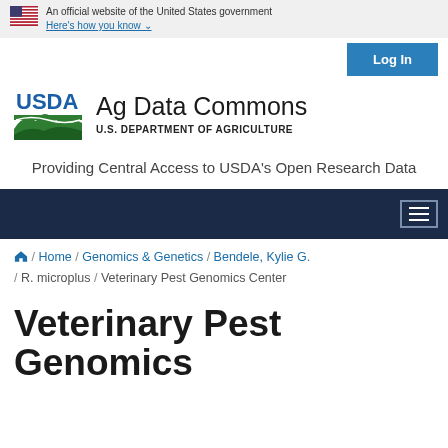An official website of the United States government Here's how you know
Log In
[Figure (logo): USDA logo with green mountain/landscape graphic and text 'Ag Data Commons' and 'U.S. DEPARTMENT OF AGRICULTURE']
Providing Central Access to USDA's Open Research Data
[Figure (screenshot): Dark navy navigation bar with hamburger menu icon on the right]
Home / Genomics & Genetics / Bendele, Kylie G. / R. microplus / Veterinary Pest Genomics Center
Veterinary Pest Genomics